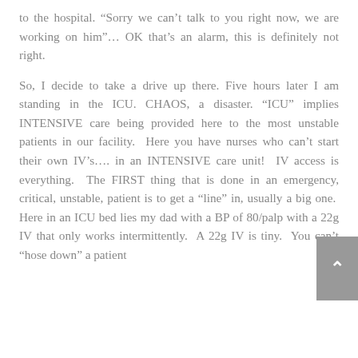to the hospital. “Sorry we can’t talk to you right now, we are working on him”… OK that’s an alarm, this is definitely not right.
So, I decide to take a drive up there. Five hours later I am standing in the ICU. CHAOS, a disaster. “ICU” implies INTENSIVE care being provided here to the most unstable patients in our facility. Here you have nurses who can’t start their own IV’s…. in an INTENSIVE care unit! IV access is everything. The FIRST thing that is done in an emergency, critical, unstable, patient is to get a “line” in, usually a big one. Here in an ICU bed lies my dad with a BP of 80/palp with a 22g IV that only works intermittently. A 22g IV is tiny. You can’t “hose down” a patient